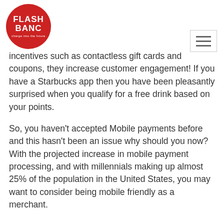[Figure (logo): FlashBanc logo — red circle with white text 'FLASHBANC' and tagline 'charge into the future']
incentives such as contactless gift cards and coupons, they increase customer engagement! If you have a Starbucks app then you have been pleasantly surprised when you qualify for a free drink based on your points.
So, you haven't accepted Mobile payments before and this hasn't been an issue why should you now? With the projected increase in mobile payment processing, and with millennials making up almost 25% of the population in the United States, you may want to consider being mobile friendly as a merchant.